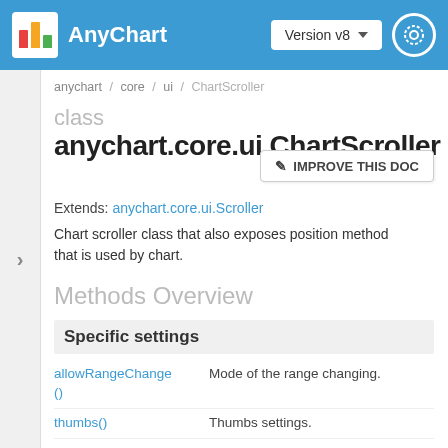AnyChart — Version v8
anychart / core / ui / ChartScroller
class anychart.core.ui.ChartScroller
✎ IMPROVE THIS DOC
Extends: anychart.core.ui.Scroller
Chart scroller class that also exposes position method that is used by chart.
Methods Overview
Specific settings
allowRangeChange() — Mode of the range changing.
thumbs() — Thumbs settings.